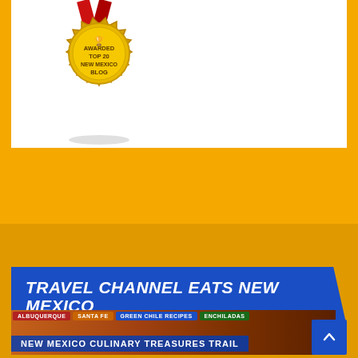[Figure (illustration): Gold award medal with red ribbon on top, reading 'AWARDED TOP 20 NEW MEXICO BLOG' with a trophy icon, set against a white background panel on an orange/golden background]
[Figure (infographic): Blue diagonal banner with bold italic white text 'TRAVEL CHANNEL EATS NEW MEXICO' on an amber/orange background, followed by a food photo strip at bottom with 'NEW MEXICO CULINARY TREASURES TRAIL' label and navigation tabs]